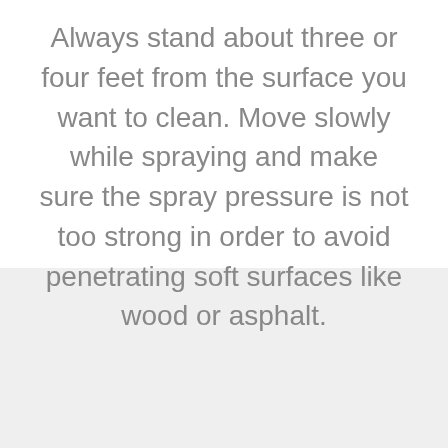Always stand about three or four feet from the surface you want to clean. Move slowly while spraying and make sure the spray pressure is not too strong in order to avoid penetrating soft surfaces like wood or asphalt.